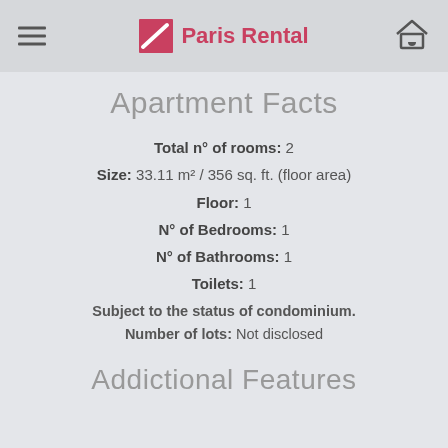Paris Rental
Apartment Facts
Total n° of rooms: 2
Size: 33.11 m² / 356 sq. ft. (floor area)
Floor: 1
N° of Bedrooms: 1
N° of Bathrooms: 1
Toilets: 1
Subject to the status of condominium. Number of lots: Not disclosed
Addictional Features